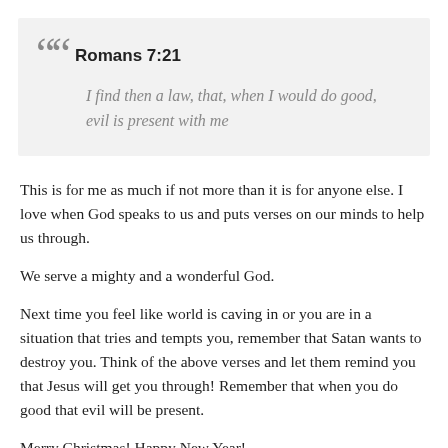Romans 7:21
I find then a law, that, when I would do good, evil is present with me
This is for me as much if not more than it is for anyone else. I love when God speaks to us and puts verses on our minds to help us through.
We serve a mighty and a wonderful God.
Next time you feel like world is caving in or you are in a situation that tries and tempts you, remember that Satan wants to destroy you. Think of the above verses and let them remind you that Jesus will get you through! Remember that when you do good that evil will be present.
Merry Christmas! Happy New Year!